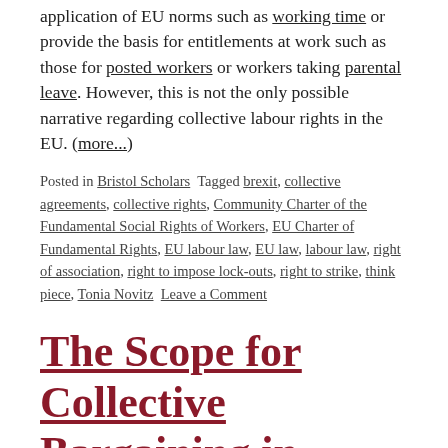application of EU norms such as working time or provide the basis for entitlements at work such as those for posted workers or workers taking parental leave. However, this is not the only possible narrative regarding collective labour rights in the EU. (more...)
Posted in Bristol Scholars  Tagged brexit, collective agreements, collective rights, Community Charter of the Fundamental Social Rights of Workers, EU Charter of Fundamental Rights, EU labour law, EU law, labour law, right of association, right to impose lock-outs, right to strike, think piece, Tonia Novitz  Leave a Comment
The Scope for Collective Bargaining in Posting and Procurement—